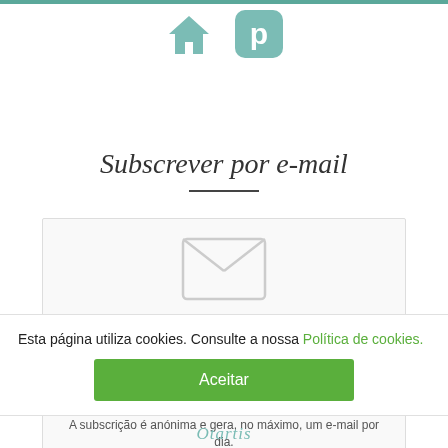[Figure (illustration): Two social media icons in teal/muted blue-green: a home icon and a Pinterest icon]
Subscrever por e-mail
[Figure (illustration): Email subscription form with envelope icon, E-mail input field, Subscrever button, and note about anonymous subscription]
A subscrição é anónima e gera, no máximo, um e-mail por dia.
Esta página utiliza cookies. Consulte a nossa Política de cookies.
Aceitar
Otartis